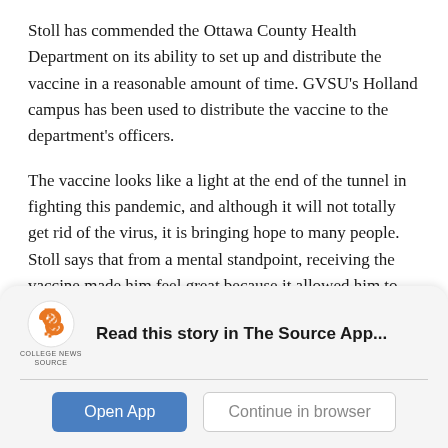Stoll has commended the Ottawa County Health Department on its ability to set up and distribute the vaccine in a reasonable amount of time. GVSU's Holland campus has been used to distribute the vaccine to the department's officers.
The vaccine looks like a light at the end of the tunnel in fighting this pandemic, and although it will not totally get rid of the virus, it is bringing hope to many people. Stoll says that from a mental standpoint, receiving the vaccine made him feel great because it allowed him to help limit the spread.
[Figure (logo): College News Source logo - stylized orange S with 'COLLEGE NEWS SOURCE' text below]
Read this story in The Source App...
Open App
Continue in browser